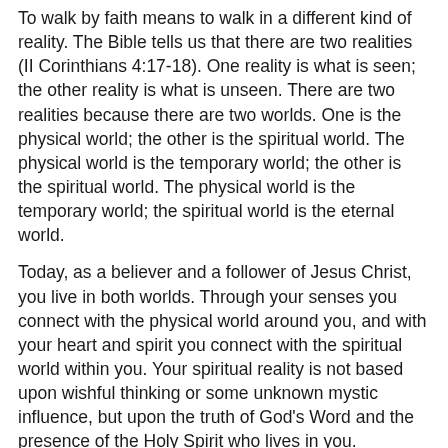To walk by faith means to walk in a different kind of reality. The Bible tells us that there are two realities (II Corinthians 4:17-18). One reality is what is seen; the other reality is what is unseen. There are two realities because there are two worlds. One is the physical world; the other is the spiritual world. The physical world is the temporary world; the other is the spiritual world. The physical world is the temporary world; the spiritual world is the eternal world.
Today, as a believer and a follower of Jesus Christ, you live in both worlds. Through your senses you connect with the physical world around you, and with your heart and spirit you connect with the spiritual world within you. Your spiritual reality is not based upon wishful thinking or some unknown mystic influence, but upon the truth of God's Word and the presence of the Holy Spirit who lives in you.
As you walk through this day in both worlds, God wants you to live by faith and not by sight.
Faith sees what your physical eyes can never see;
Faith knows what your natural mind can never comprehend;
Faith possesses what your physical arms can never hold.
Faith says "yes" to everything God declares to be true;
Faith stands upon everything God says is certain, it leans